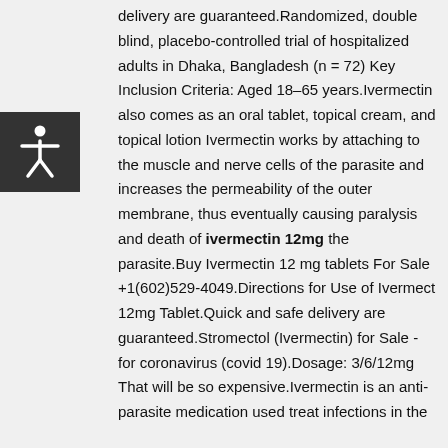[Figure (illustration): Accessibility icon button — dark grey square with a white human figure (stick person with arms outstretched) inside it.]
delivery are guaranteed.Randomized, double blind, placebo-controlled trial of hospitalized adults in Dhaka, Bangladesh (n = 72) Key Inclusion Criteria: Aged 18–65 years.Ivermectin also comes as an oral tablet, topical cream, and topical lotion Ivermectin works by attaching to the muscle and nerve cells of the parasite and increases the permeability of the outer membrane, thus eventually causing paralysis and death of ivermectin 12mg the parasite.Buy Ivermectin 12 mg tablets For Sale +1(602)529-4049.Directions for Use of Ivermect 12mg Tablet.Quick and safe delivery are guaranteed.Stromectol (Ivermectin) for Sale - for coronavirus (covid 19).Dosage: 3/6/12mg That will be so expensive.Ivermectin is an anti-parasite medication used treat infections in the